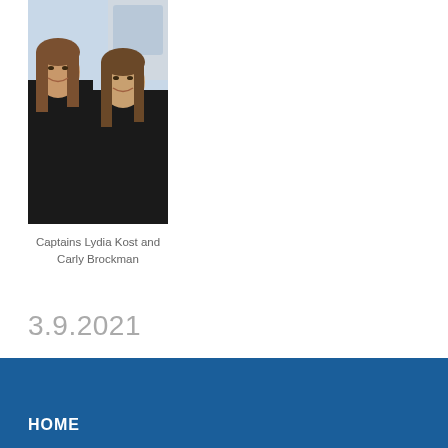[Figure (photo): Two women smiling in dark uniforms with an aircraft visible in the background, outdoors at an airport or flight line.]
Captains Lydia Kost and Carly Brockman
3.9.2021
HOME